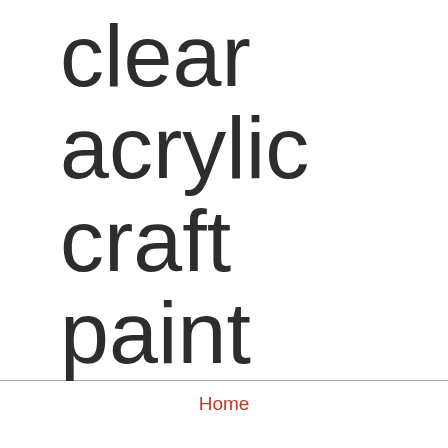clear acrylic craft paint
Home
After the rocks have been completed, place them on newspaper in a well-ventilated area and spray them with an acrylic clear lacquer spray. Excellent one coat coverage for all of your arts and crafts, home decor and school